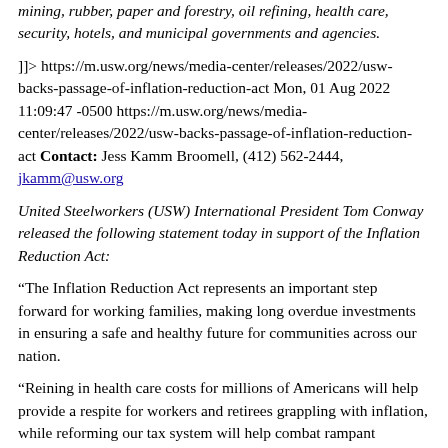mining, rubber, paper and forestry, oil refining, health care, security, hotels, and municipal governments and agencies.
]]> https://m.usw.org/news/media-center/releases/2022/usw-backs-passage-of-inflation-reduction-act Mon, 01 Aug 2022 11:09:47 -0500 https://m.usw.org/news/media-center/releases/2022/usw-backs-passage-of-inflation-reduction-act Contact: Jess Kamm Broomell, (412) 562-2444, jkamm@usw.org
United Steelworkers (USW) International President Tom Conway released the following statement today in support of the Inflation Reduction Act:
“The Inflation Reduction Act represents an important step forward for working families, making long overdue investments in ensuring a safe and healthy future for communities across our nation.
“Reining in health care costs for millions of Americans will help provide a respite for workers and retirees grappling with inflation, while reforming our tax system will help combat rampant economic inequality by ensuring the richest corporations are paying their fair share.
“Just as crucially, the bill will pave the way for both a cleaner environment and good jobs, as we invest in building out domestic